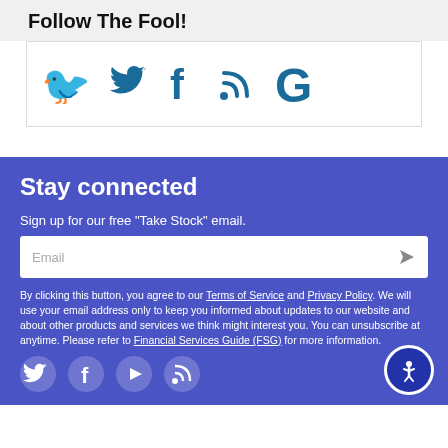Follow The Fool!
[Figure (illustration): Social media icons: Twitter (bird), Facebook (f), RSS (signal waves), Google (G) in teal/dark blue color]
Stay connected
Sign up for our free "Take Stock" email.
Email
By clicking this button, you agree to our Terms of Service and Privacy Policy. We will use your email address only to keep you informed about updates to our website and about other products and services we think might interest you. You can unsubscribe at anytime. Please refer to Financial Services Guide (FSG) for more information.
[Figure (illustration): Bottom social media icons (Twitter, Facebook, play button, RSS) as white circles on blue background, plus accessibility button]